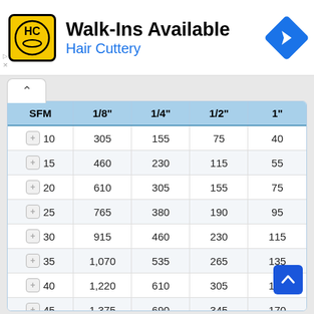[Figure (screenshot): Hair Cuttery advertisement banner with logo, 'Walk-Ins Available' text, and navigation icon]
| SFM | 1/8" | 1/4" | 1/2" | 1" |
| --- | --- | --- | --- | --- |
| + 10 | 305 | 155 | 75 | 40 |
| + 15 | 460 | 230 | 115 | 55 |
| + 20 | 610 | 305 | 155 | 75 |
| + 25 | 765 | 380 | 190 | 95 |
| + 30 | 915 | 460 | 230 | 115 |
| + 35 | 1,070 | 535 | 265 | 135 |
| + 40 | 1,220 | 610 | 305 | 155 |
| + 45 | 1,375 | 690 | 345 | 170 |
| + 50 | 1,530 | 765 | 380 | 190 |